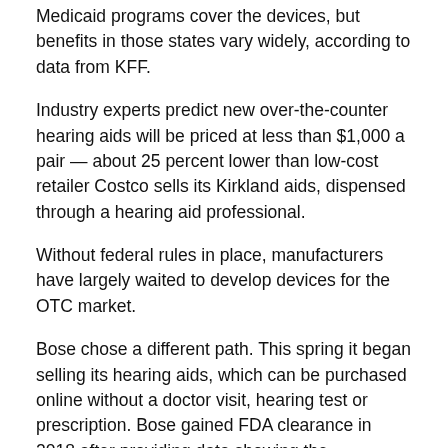Medicaid programs cover the devices, but benefits in those states vary widely, according to data from KFF.
Industry experts predict new over-the-counter hearing aids will be priced at less than $1,000 a pair — about 25 percent lower than low-cost retailer Costco sells its Kirkland aids, dispensed through a hearing aid professional.
Without federal rules in place, manufacturers have largely waited to develop devices for the OTC market.
Bose chose a different path. This spring it began selling its hearing aids, which can be purchased online without a doctor visit, hearing test or prescription. Bose gained FDA clearance in 2018 after providing data showing the effectiveness of its self-fitting aids was comparable to those fitted with the same device by a hearing professional. The Bose aids sell for $849 a pair,